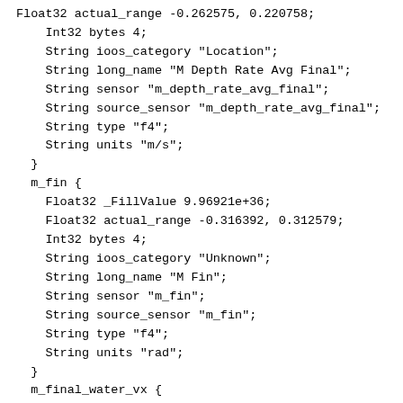Float32 actual_range -0.262575, 0.220758;
    Int32 bytes 4;
    String ioos_category "Location";
    String long_name "M Depth Rate Avg Final";
    String sensor "m_depth_rate_avg_final";
    String source_sensor "m_depth_rate_avg_final";
    String type "f4";
    String units "m/s";
  }
  m_fin {
    Float32 _FillValue 9.96921e+36;
    Float32 actual_range -0.316392, 0.312579;
    Int32 bytes 4;
    String ioos_category "Unknown";
    String long_name "M Fin";
    String sensor "m_fin";
    String source_sensor "m_fin";
    String type "f4";
    String units "rad";
  }
  m_final_water_vx {
    Float32 _FillValue 9.96921e+36;
    Float32 actual_range -1.40101, 0.00190316;
    Int32 bytes 4;
    String ioos_category "Unknown";
    String long_name "M Final Water Vx";